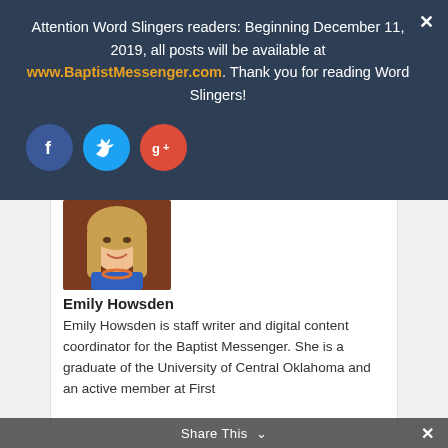Attention Word Slingers readers: Beginning December 11, 2019, all posts will be available at www.BaptistMessenger.com. Thank you for reading Word Slingers!
[Figure (infographic): Social media share icons: Facebook (blue circle with f), Twitter (cyan circle with bird), Google+ (red circle with g+)]
[Figure (photo): Portrait photo of Emily Howsden, a young woman with long blonde hair, wearing a blue top and orange necklace, smiling, against a brown background]
Emily Howsden
Emily Howsden is staff writer and digital content coordinator for the Baptist Messenger. She is a graduate of the University of Central Oklahoma and an active member at First
Share This ∨  ✕